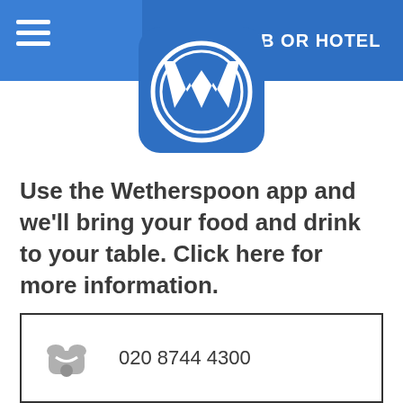FIND A PUB OR HOTEL
[Figure (logo): Wetherspoon app logo — blue rounded square with white W inside a circle]
Use the Wetherspoon app and we'll bring your food and drink to your table. Click here for more information.
020 8744 4300